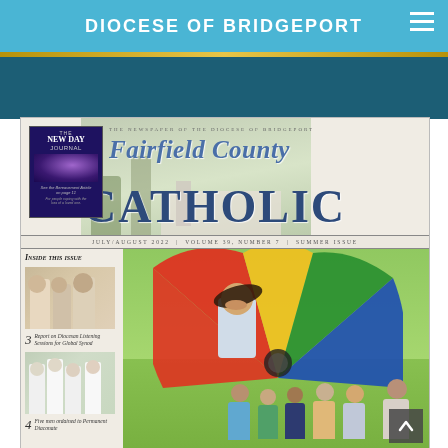DIOCESE OF BRIDGEPORT
[Figure (screenshot): Screenshot of Diocese of Bridgeport website showing the Fairfield County Catholic newspaper front page. The magazine cover features the masthead 'Fairfield County Catholic', subtitle 'The New Day Journal', issue info 'July/August 2022 | Volume 39, Number 7 | Summer Issue', an 'Inside This Issue' sidebar with page references for 'Report on Diocesan Listening Sessions for Global Synod' (page 3) and 'Five men ordained to Permanent Diaconate' (page 4), and a main photo of children playing with a colorful parachute outdoors.]